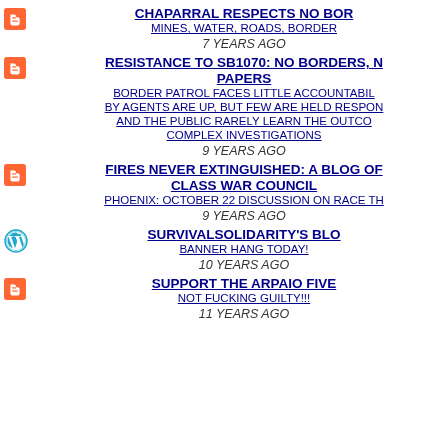CHAPARRAL RESPECTS NO BOR... | MINES, WATER, ROADS, BORDER... | 7 YEARS AGO
RESISTANCE TO SB1070: NO BORDERS, N... PAPERS | BORDER PATROL FACES LITTLE ACCOUNTABIL... BY AGENTS ARE UP, BUT FEW ARE HELD RESPON... AND THE PUBLIC RARELY LEARN THE OUTCO... COMPLEX INVESTIGATIONS | 9 YEARS AGO
FIRES NEVER EXTINGUISHED: A BLOG OF... CLASS WAR COUNCIL | PHOENIX: OCTOBER 22 DISCUSSION ON RACE TH... | 9 YEARS AGO
SURVIVALSOLIDARITY'S BLO... | BANNER HANG TODAY! | 10 YEARS AGO
SUPPORT THE ARPAIO FIVE... | NOT FUCKING GUILTY!!! | 11 YEARS AGO